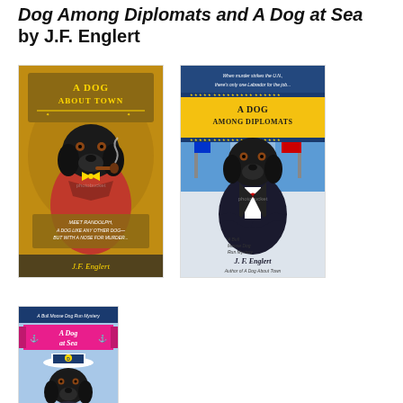Dog Among Diplomats and A Dog at Sea by J.F. Englert
[Figure (illustration): Book cover: A Dog About Town by J.F. Englert — illustration of a black Labrador dog dressed in a red jacket and yellow bow tie, smoking a pipe, on a golden-brown background. Text reads: 'A DOG ABOUT TOWN', 'Meet Randolph, a dog like any other dog — but with a nose for murder...']
[Figure (illustration): Book cover: A Dog Among Diplomats by J.F. Englert — illustration of a black Labrador dog in a dark suit and bow tie, standing in front of UN building with flags. Text reads: 'When murder strikes the U.N., there's only one Labrador for the job...', 'A DOG AMONG DIPLOMATS', 'A Bull Moose Dog Run Mystery', 'J.F. Englert, Author of A Dog About Town']
[Figure (illustration): Book cover: A Dog at Sea by J.F. Englert — illustration of a black Labrador dog wearing a white captain's hat, with a pink banner reading 'A DOG AT SEA'. Text: 'A Bull Moose Dog Run Mystery', quote: 'J.F. Englert has written a loveable mystery starring one of the most unique heroes in the genre.']